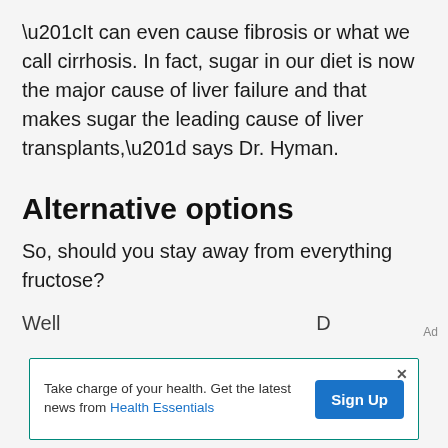“It can even cause fibrosis or what we call cirrhosis. In fact, sugar in our diet is now the major cause of liver failure and that makes sugar the leading cause of liver transplants,” says Dr. Hyman.
Alternative options
So, should you stay away from everything fructose?
Well...
Ad
Take charge of your health. Get the latest news from Health Essentials [Sign Up]